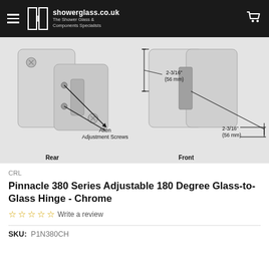showerglass.co.uk — The Shower Glass & Components Specialists
[Figure (engineering-diagram): Engineering diagram of a glass-to-glass hinge shown from Rear and Front views. Rear view shows Allen Adjustment Screws labeled with arrows. Front view shows dimension callouts: 2-3/16" (56 mm) for two measurements. The hinge is chrome-finished.]
CRL
Pinnacle 380 Series Adjustable 180 Degree Glass-to-Glass Hinge - Chrome
☆☆☆☆☆ Write a review
SKU: P1N380CH